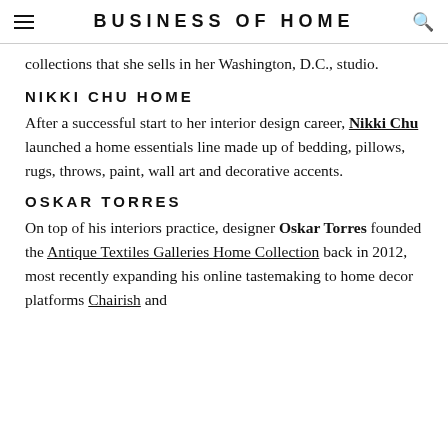BUSINESS OF HOME
collections that she sells in her Washington, D.C., studio.
NIKKI CHU HOME
After a successful start to her interior design career, Nikki Chu launched a home essentials line made up of bedding, pillows, rugs, throws, paint, wall art and decorative accents.
OSKAR TORRES
On top of his interiors practice, designer Oskar Torres founded the Antique Textiles Galleries Home Collection back in 2012, most recently expanding his online tastemaking to home decor platforms Chairish and